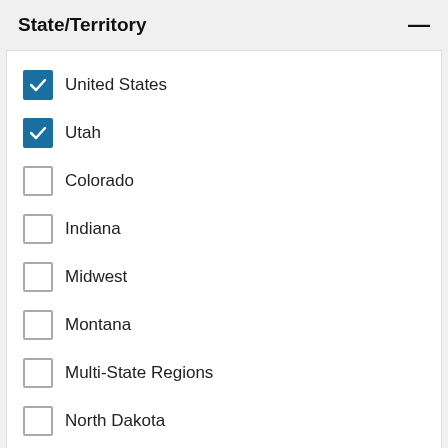State/Territory
United States (checked)
Utah (checked)
Colorado
Indiana
Midwest
Montana
Multi-State Regions
North Dakota
South Dakota
States
Language